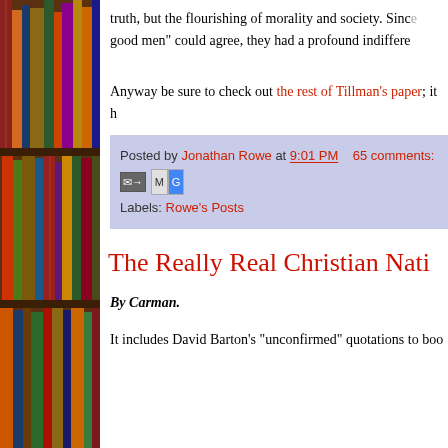truth, but the flourishing of morality and society. Since good men” could agree, they had a profound indiffere
Anyway be sure to check out the rest of Tillman's paper; it h
Posted by Jonathan Rowe at 9:01 PM   65 comments:
Labels: Rowe's Posts
The Really Real Christian Nati
By Carman.
It includes David Barton's "unconfirmed" quotations to boo